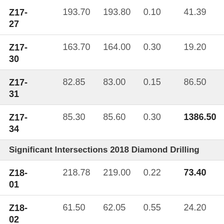| Hole ID | From | To | Width | Grade |
| --- | --- | --- | --- | --- |
| Z17-27 | 193.70 | 193.80 | 0.10 | 41.39 |
| Z17-30 | 163.70 | 164.00 | 0.30 | 19.20 |
| Z17-31 | 82.85 | 83.00 | 0.15 | 86.50 |
| Z17-34 | 85.30 | 85.60 | 0.30 | 1386.50 |
| Significant Intersections 2018 Diamond Drilling |  |  |  |  |
| Z18-01 | 218.78 | 219.00 | 0.22 | 73.40 |
| Z18-02 | 61.50 | 62.05 | 0.55 | 24.20 |